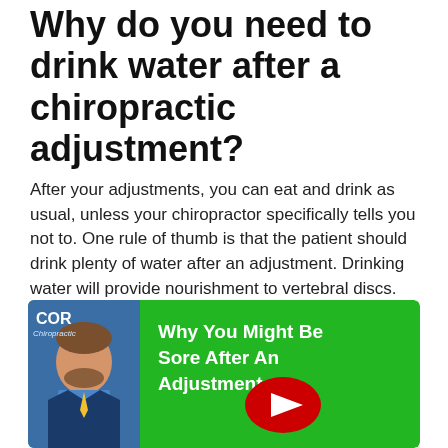Why do you need to drink water after a chiropractic adjustment?
After your adjustments, you can eat and drink as usual, unless your chiropractor specifically tells you not to. One rule of thumb is that the patient should drink plenty of water after an adjustment. Drinking water will provide nourishment to vertebral discs. This keeps the spine flexible.
[Figure (screenshot): YouTube video thumbnail with green background showing a man in a suit on the left and white bold text reading 'Why You Might Be Sore After An Adjustment' with a YouTube play button in the center.]